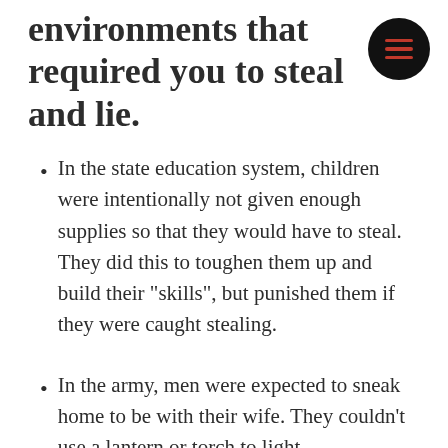environments that required you to steal and lie.
In the state education system, children were intentionally not given enough supplies so that they would have to steal. They did this to toughen them up and build their "skills", but punished them if they were caught stealing.
In the army, men were expected to sneak home to be with their wife. They couldn't use a lantern or torch to light